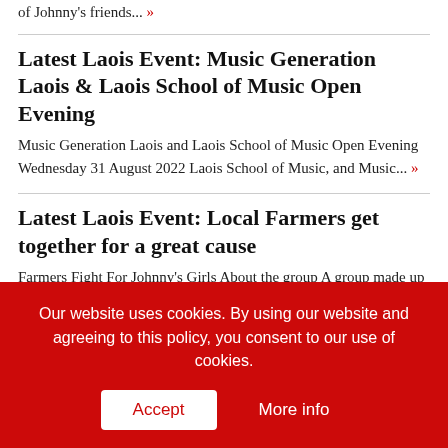of Johnny's friends... »
Latest Laois Event: Music Generation Laois & Laois School of Music Open Evening
Music Generation Laois and Laois School of Music Open Evening Wednesday 31 August 2022 Laois School of Music, and Music... »
Latest Laois Event: Local Farmers get together for a great cause
Farmers Fight For Johnny's Girls About the group A group made up of farmers engaging in various
Our website uses cookies. By using our website and agreeing to this policy, you consent to our use of cookies.